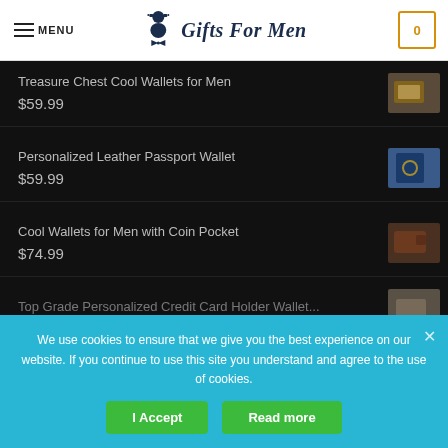MENU | Gifts For Men | 0
Treasure Chest Cool Wallets for Men
$59.99
Personalized Leather Passport Wallet
$59.99
Cool Wallets for Men with Coin Pocket
$74.99
Top Grade Personalized Credit Card Holder Wallet...
We use cookies to ensure that we give you the best experience on our website. If you continue to use this site you understand and agree to the use of cookies.
I Accept | Read more